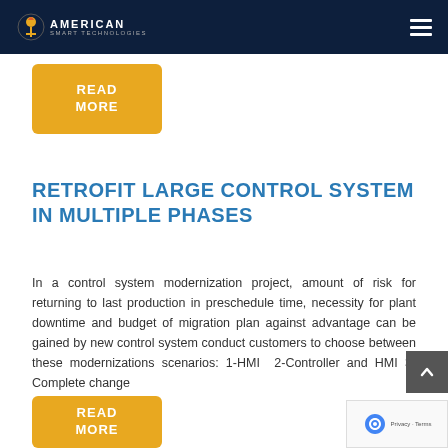AMERICAN SMART TECHNOLOGIES
READ MORE
RETROFIT LARGE CONTROL SYSTEM IN MULTIPLE PHASES
In a control system modernization project, amount of risk for returning to last production in preschedule time, necessity for plant downtime and budget of migration plan against advantage can be gained by new control system conduct customers to choose between these modernizations scenarios: 1-HMI  2-Controller and HMI  3-Complete change
READ MORE